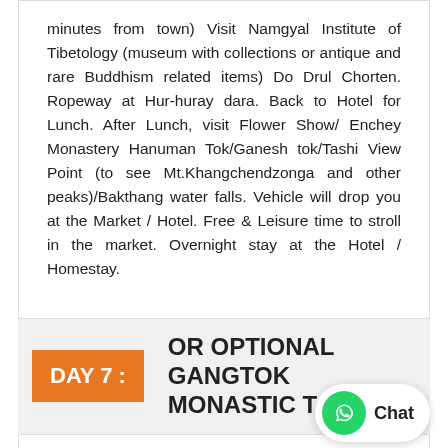minutes from town) Visit Namgyal Institute of Tibetology (museum with collections or antique and rare Buddhism related items) Do Drul Chorten. Ropeway at Hur-huray dara. Back to Hotel for Lunch. After Lunch, visit Flower Show/ Enchey Monastery Hanuman Tok/Ganesh tok/Tashi View Point (to see Mt.Khangchendzonga and other peaks)/Bakthang water falls. Vehicle will drop you at the Market / Hotel. Free & Leisure time to stroll in the market. Overnight stay at the Hotel / Homestay.
DAY 7 : OR OPTIONAL GANGTOK MONASTIC TOUR
Breakfast at Hotel. Visit Rumtek Monastery/Dharma Chakra Center (24 kms/1 hr) Kagyu order of Tibetan Buddhism / official seat in exile to HH Karmapa. Lingdum Zurmang Kagyud monastery(10 kms from Rumtek/30 minutes) Kagyu order of Tibetan Buddhism. Back to Lunch/Recess. After lunch, visit Enchey Monastery (20